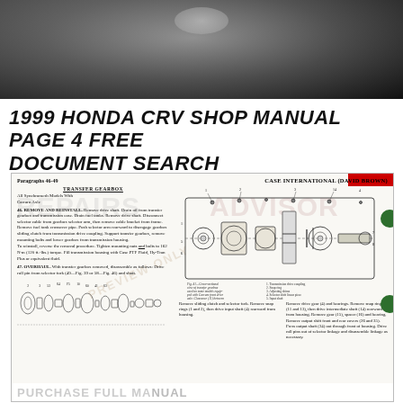[Figure (photo): Top photo banner showing a motorcycle or vehicle, dark toned image used as page header decoration]
1999 HONDA CRV SHOP MANUAL PAGE 4 FREE DOCUMENT SEARCH
[Figure (engineering-diagram): Scanned page from a Case International (David Brown) transfer gearbox shop manual, showing cross-sectional engineering diagram of transfer gearbox, paragraphs 46-49, with repair procedures for remove/reinstall and overhaul, plus parts explosion diagram at bottom. Watermarked with REPAIRS ADVISOR preview watermark and PURCHASE FULL MANUAL bar at bottom.]